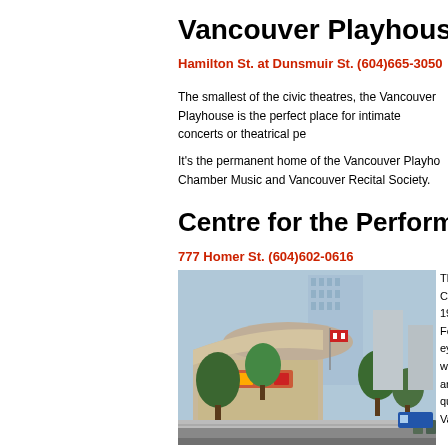Vancouver Playhouse
Hamilton St. at Dunsmuir St. (604)665-3050
The smallest of the civic theatres, the Vancouver Playhouse is the perfect place for intimate concerts or theatrical performances.
It's the permanent home of the Vancouver Playhouse, Vancouver Chamber Music and Vancouver Recital Society.
Centre for the Performing Arts
777 Homer St. (604)602-0616
[Figure (photo): Exterior photo of the Centre for the Performing Arts building in Vancouver, showing a curved modern building facade with trees and a high-rise in the background.]
The Centre produced some of the biggest hits of